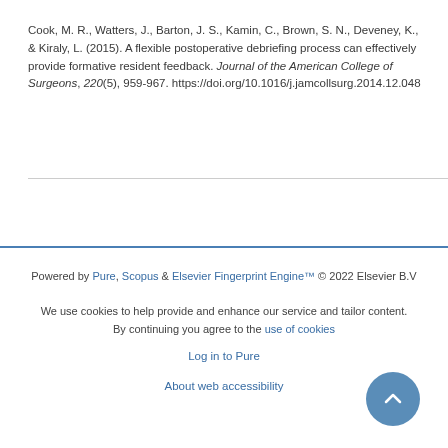Cook, M. R., Watters, J., Barton, J. S., Kamin, C., Brown, S. N., Deveney, K., & Kiraly, L. (2015). A flexible postoperative debriefing process can effectively provide formative resident feedback. Journal of the American College of Surgeons, 220(5), 959-967. https://doi.org/10.1016/j.jamcollsurg.2014.12.048
Powered by Pure, Scopus & Elsevier Fingerprint Engine™ © 2022 Elsevier B.V
We use cookies to help provide and enhance our service and tailor content. By continuing you agree to the use of cookies
Log in to Pure
About web accessibility